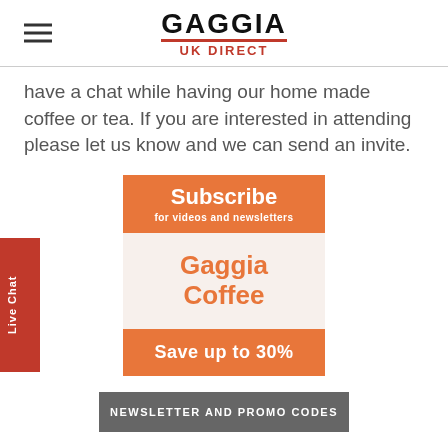GAGGIA UK DIRECT
have a chat while having our home made coffee or tea. If you are interested in attending please let us know and we can send an invite.
[Figure (infographic): Subscribe banner card with orange header 'Subscribe for videos and newsletters', middle section on light background with 'Gaggia Coffee' in orange text, and orange footer with 'Save up to 30%' in white text.]
NEWSLETTER AND PROMO CODES